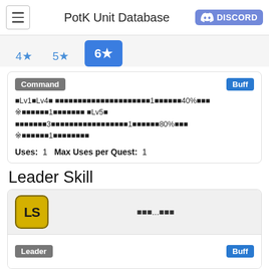PotK Unit Database
4★
5★
6★
Command  Buff
■Lv1～Lv4■ ■■■■■■■■■■■■■■■■■■■■■1■■■■■■40%■■■ ※■■■■■■1■■■■■■■ ■Lv5■ ■■■■■■■3■■■■■■■■■■■■■■■■■1■■■■■■80%■■■ ※■■■■■■1■■■■■■■■
Uses: 1   Max Uses per Quest: 1
Leader Skill
■■■...■■■
Leader  Buff